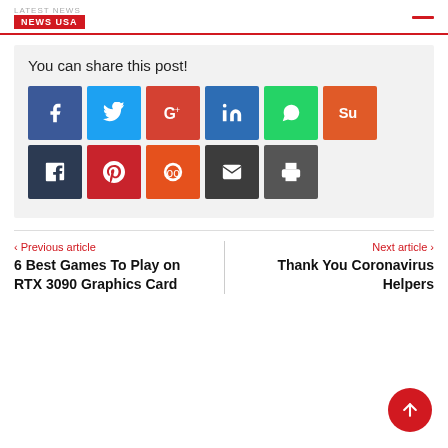News USA
You can share this post!
[Figure (infographic): Social share buttons: Facebook, Twitter, Google+, LinkedIn, WhatsApp, StumbleUpon, Tumblr, Pinterest, Reddit, Email, Print]
< Previous article
6 Best Games To Play on RTX 3090 Graphics Card
Next article >
Thank You Coronavirus Helpers